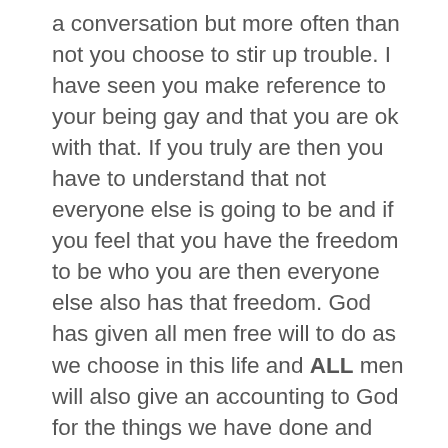a conversation but more often than not you choose to stir up trouble. I have seen you make reference to your being gay and that you are ok with that. If you truly are then you have to understand that not everyone else is going to be and if you feel that you have the freedom to be who you are then everyone else also has that freedom. God has given all men free will to do as we choose in this life and ALL men will also give an accounting to God for the things we have done and not done. He does not force anyone to do anything but has told us right from wrong and it is not relative. There is one truth only and it is unchanging and not based on traditions or dogma or councils of men or current societal norms of morality. Be a positive source on here as you do seem to definitely have knowledge. I know I have learned some things from some of your more informative comments and if you don't make it your